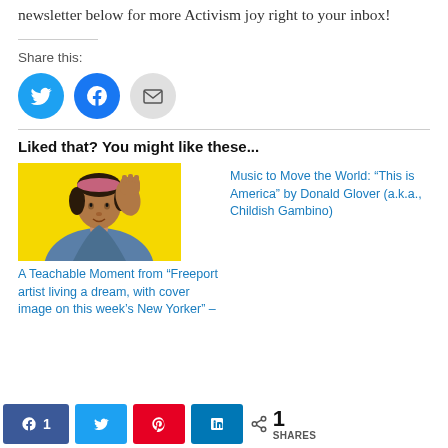newsletter below for more Activism joy right to your inbox!
Share this:
[Figure (infographic): Three share icon buttons: Twitter (blue circle with bird), Facebook (blue circle with f), Email (gray circle with envelope)]
Liked that? You might like these...
[Figure (photo): Illustration of a Black woman in denim jacket raising her fist, in the style of Rosie the Riveter, on yellow background]
A Teachable Moment from “Freeport artist living a dream, with cover image on this week’s New Yorker” –
Music to Move the World: “This is America” by Donald Glover (a.k.a., Childish Gambino)
Facebook 1   Twitter   Pinterest   LinkedIn   < 1 SHARES